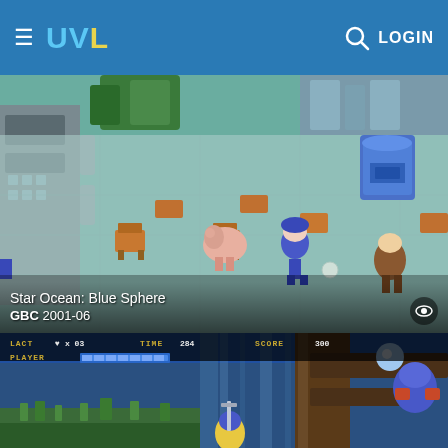UVL LOGIN
[Figure (screenshot): Star Ocean: Blue Sphere GBC game screenshot showing isometric RPG scene with characters in a building interior with orange chairs, tiled floor, and pixel art graphics]
Star Ocean: Blue Sphere GBC 2001-06
[Figure (screenshot): Side-scrolling action game screenshot showing HUD with LACT, TIME 284, SCORE 300, PLAYER health bar, forest level with large tree, waterfalls, blue sky, warrior character and enemy on tree branch]